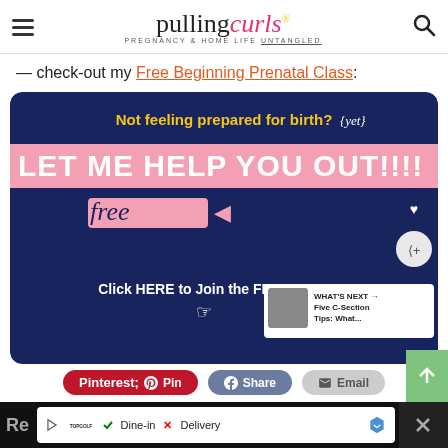pulling curls — PREGNANCY & HOME LIFE UNTANGLED
— check-out my Free Beginning Prenatal Class:
[Figure (illustration): Promotional banner for 'The Free Beginning Prenatal Class' with dark blue background, text 'Not feeling prepared for birth? {yet}', 'LET ME HELP YOU OUT!!!!', 'The free Beginning Prenatal Class', and a button 'Click HERE to Join the FREE CLASS']
Pin | Share | Email share buttons
[Figure (infographic): WHAT'S NEXT arrow with thumbnail image and text 'Five C-Section Tips: What...']
[Figure (screenshot): Bottom ad bar showing Topgolf advertisement with Dine-in and Delivery options]